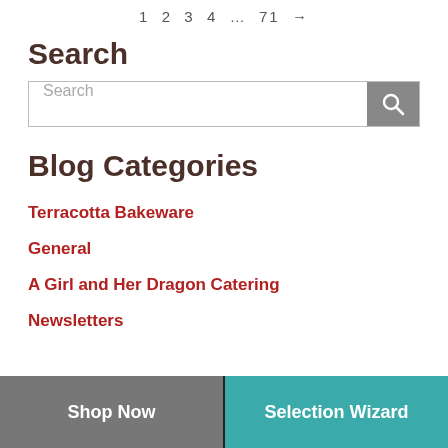1 2 3 4 … 71 →
Search
Search (input box with magnifier button)
Blog Categories
Terracotta Bakeware
General
A Girl and Her Dragon Catering
Newsletters
Shop Now | Selection Wizard